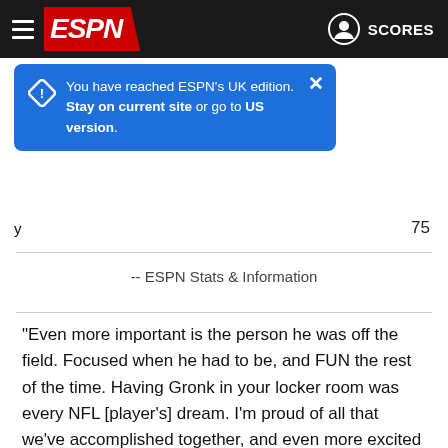[Figure (screenshot): ESPN website header with hamburger menu, ESPN logo on red background, user icon and SCORES button on dark background]
[Figure (screenshot): Blue popup notification: 'You have reached ESPN's UK edition. Stay on current site or go to US version.' with close button]
75
-- ESPN Stats & Information
"Even more important is the person he was off the field. Focused when he had to be, and FUN the rest of the time. Having Gronk in your locker room was every NFL [player's] dream. I'm proud of all that we've accomplished together, and even more excited for all you have ahead of you. Congrats Gronk, you deserve it."
Gronkowski is the second key member of the Buccaneers' offense to retire this year, following guard Ali Marpet, who retired in February. Brady himself announced his retirement in